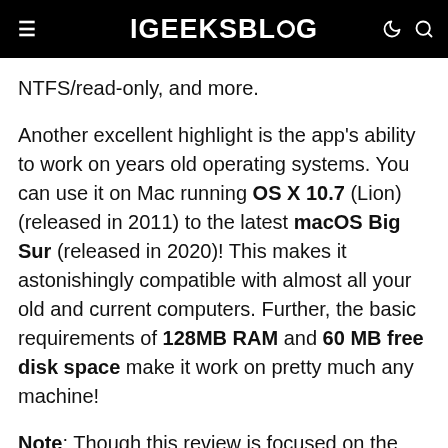iGEEKSBLOG
NTFS/read-only, and more.
Another excellent highlight is the app's ability to work on years old operating systems. You can use it on Mac running OS X 10.7 (Lion) (released in 2011) to the latest macOS Big Sur (released in 2020)! This makes it astonishingly compatible with almost all your old and current computers. Further, the basic requirements of 128MB RAM and 60 MB free disk space make it work on pretty much any machine!
Note: Though this review is focused on the